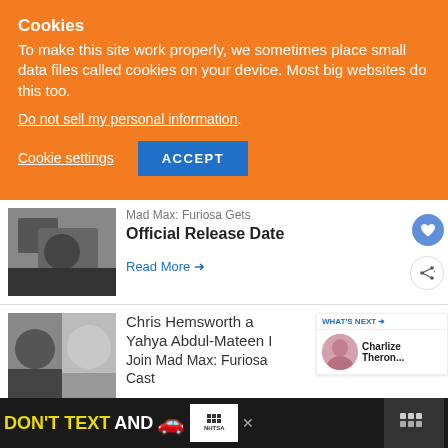Cookies
To make this site work properly, we sometimes place small data files called cookies on your device. Most big websites do this too.
Do not sell my personal information.
Cookie settings   ACCEPT
Mad Max: Furiosa Gets Official Release Date
Read More →
Chris Hemsworth and Yahya Abdul-Mateen II Join Mad Max: Furiosa Cast
WHAT'S NEXT → Charlize Theron...
[Figure (screenshot): Ad banner: DON'T TEXT AND [car emoji] with NHTSA logo on dark background]